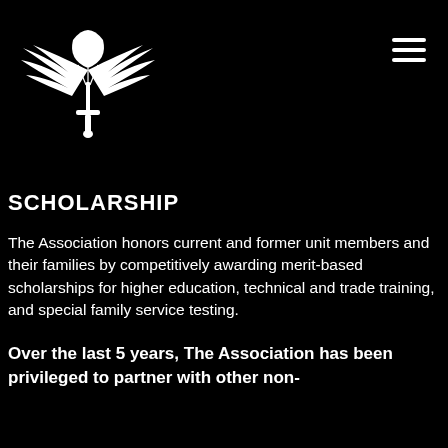[Figure (logo): Military association logo: white winged parachute emblem with sword, on black background]
SCHOLARSHIP
The Association honors current and former unit members and their families by competitively awarding merit-based scholarships for higher education, technical and trade training, and special family service testing.
Over the last 5 years, The Association has been privileged to partner with other non-